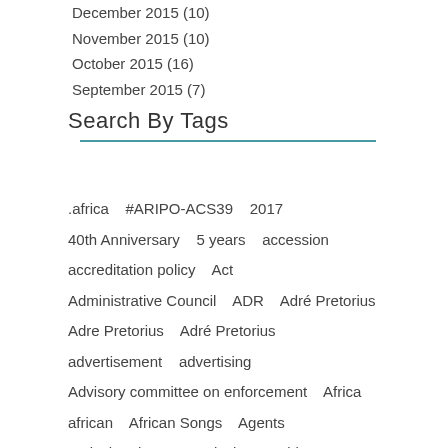December 2015 (10)
November 2015 (10)
October 2015 (16)
September 2015 (7)
Search By Tags
.africa   #ARIPO-ACS39   2017
40th Anniversary   5 years   accession
accreditation policy   Act
Administrative Council   ADR   Adré Pretorius
Adre Pretorius   Adré Pretorius
advertisement   advertising
Advisory committee on enforcement   Africa
african   African Songs   Agents
agricultural crop   Agriculture   aid
Akabanga   Algeria